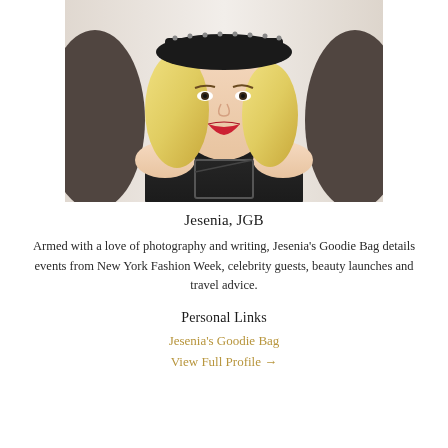[Figure (photo): Portrait photo of Jesenia, a young woman with blonde wavy hair wearing a black hat with studs and a black sleeveless top, smiling with red lipstick against a white background.]
Jesenia, JGB
Armed with a love of photography and writing, Jesenia's Goodie Bag details events from New York Fashion Week, celebrity guests, beauty launches and travel advice.
Personal Links
Jesenia's Goodie Bag
View Full Profile →